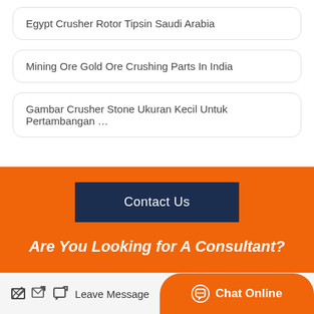Egypt Crusher Rotor Tipsin Saudi Arabia
Mining Ore Gold Ore Crushing Parts In India
Gambar Crusher Stone Ukuran Kecil Untuk Pertambangan …
Contact Us
Are You Looking for A Consultant?
Leave Message
Chat Online